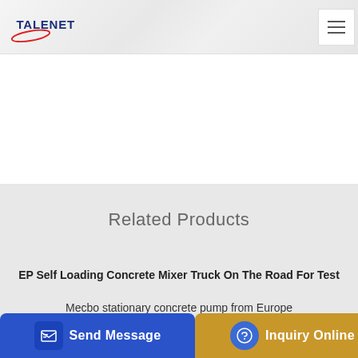TALENET
Related Products
EP Self Loading Concrete Mixer Truck On The Road For Test
Mecbo stationary concrete pump from Europe
concrete
Send Message | Inquiry Online